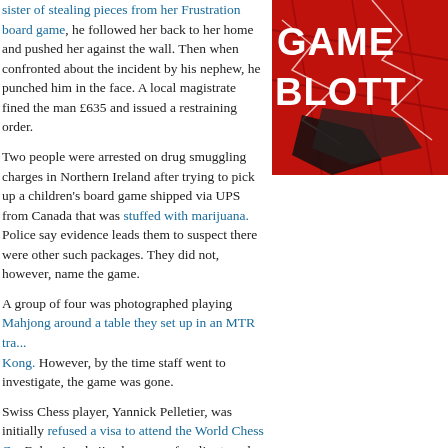sister of stealing pieces from her Frustration board game, he followed her back to her home and pushed her against the wall. Then when confronted about the incident by his nephew, he punched him in the face. A local magistrate fined the man £635 and issued a restraining order.
[Figure (photo): Red background image with 'GAME BLOTTER' text in bold white and black letters, stylized graphic design]
Two people were arrested on drug smuggling charges in Northern Ireland after trying to pick up a children's board game shipped via UPS from Canada that was stuffed with marijuana. Police say evidence leads them to suspect there were other such packages. They did not, however, name the game.
A group of four was photographed playing Mahjong around a table they set up in an MTR tra... Kong. However, by the time staff went to investigate, the game was gone.
Swiss Chess player, Yannick Pelletier, was initially refused a visa to attend the World Chess C... Baku, Azerbaijan because of earlier travel to Azerbaijani territory occupied by Armenia. After... letter stating that the visit was a mistake and promising not to go back, the Ministry of Foreig... relented and granted him that visa.
House-banked gambling on card games is illegal in California, except at tribal casinos. More... tribal card rooms continue in business, though, operating under a 2007 letter from the former... Bureau of Gambling Control, Robert Lytle, which declared that as long as the role of dealer w... to to the whole table every second hand, the game would not be considered illegal even if all... declined. (When everyone declines, as they usually do, the role of bank is given to a licensed... contracted dealer-of-last-resort. And in any case, the host card room makes money by chargin... each hand played.) Lytle left the Bureau, however, shortly after issuing that letter and went to... card room consultant. And just recently he settled a complaint that he illegally received inform... inside the Bureau on an investigation involving one of his clients. So now, nearly 10 years la...